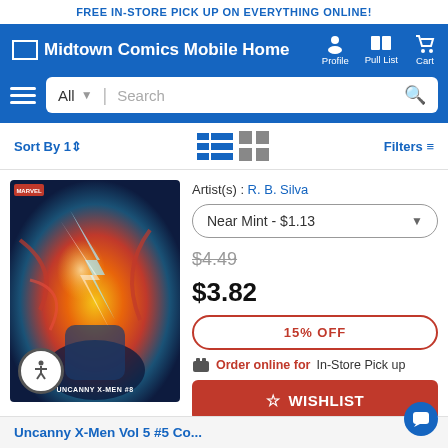FREE IN-STORE PICK UP ON EVERYTHING ONLINE!
Midtown Comics Mobile Home | Profile | Pull List | Cart
[Figure (screenshot): Search bar with 'All' dropdown and search field]
Sort By | Filters
[Figure (photo): Comic book cover for Uncanny X-Men #8 showing a lightning energy battle scene]
Artist(s) : R. B. Silva
Near Mint - $1.13
$4.49 (strikethrough)
$3.82
15% OFF
Order online for In-Store Pick up
WISHLIST
Uncanny X-Men Vol 5 #5 Co...